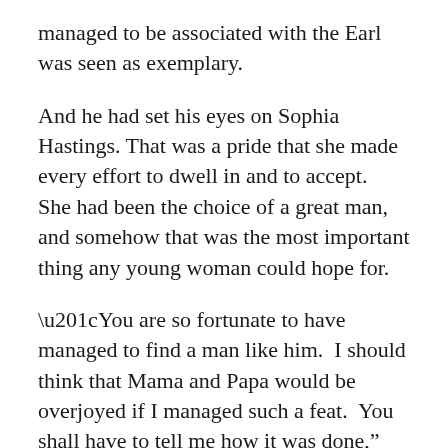managed to be associated with the Earl was seen as exemplary.
And he had set his eyes on Sophia Hastings. That was a pride that she made every effort to dwell in and to accept. She had been the choice of a great man, and somehow that was the most important thing any young woman could hope for.
“You are so fortunate to have managed to find a man like him. I should think that Mama and Papa would be overjoyed if I managed such a feat. You shall have to tell me how it was done,” Adrianna said with a bright, red-lipped smile on her pale face.